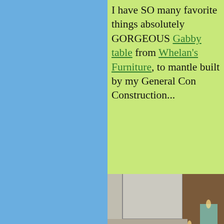I have SO many favorite things absolutely GORGEOUS Gabby table from Whelan's Furniture, to mantle built by my General Construction...
[Figure (photo): Photo of a fireplace mantle decorated with pillar candles of various heights in green and cream colors, with a large mirror leaning against the wall behind the mantle. The candles are lit and placed in crystal candleholders on a white painted brick mantle.]